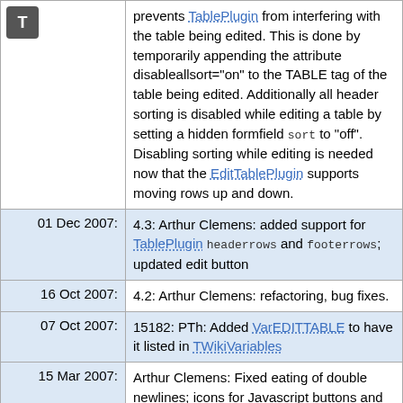| Date | Description |
| --- | --- |
| (icon) | prevents TablePlugin from interfering with the table being edited. This is done by temporarily appending the attribute disableallsort="on" to the TABLE tag of the table being edited. Additionally all header sorting is disabled while editing a table by setting a hidden formfield sort to "off". Disabling sorting while editing is needed now that the EditTablePlugin supports moving rows up and down. |
| 01 Dec 2007: | 4.3: Arthur Clemens: added support for TablePlugin headerrows and footerrows; updated edit button |
| 16 Oct 2007: | 4.2: Arthur Clemens: refactoring, bug fixes. |
| 07 Oct 2007: | 15182: PTh: Added VarEDITTABLE to have it listed in TWikiVariables |
| 15 Mar 2007: | Arthur Clemens: Fixed eating of double newlines; icons for Javascript buttons and interface improvements. By default the Javascript interface is turned off, set |